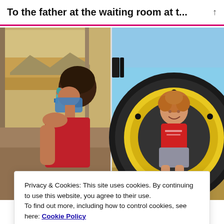To the father at the waiting room at t...
[Figure (photo): Two photos side by side: left photo shows a young boy with dark hair wearing a red tank top and blue face mask with a hearing aid, looking out a window at a landscape; right photo shows a smiling toddler in a red shirt sitting inside a large yellow tractor tire]
Load More...
Follow on Instagram
PREVIOUS ENTRY
Privacy & Cookies: This site uses cookies. By continuing to use this website, you agree to their use.
To find out more, including how to control cookies, see here: Cookie Policy
Close and accept